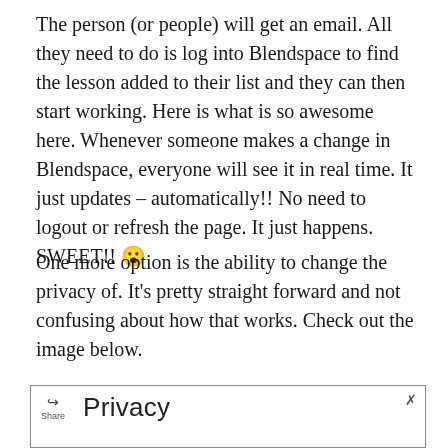The person (or people) will get an email. All they need to do is log into Blendspace to find the lesson added to their list and they can then start working. Here is what is so awesome here. Whenever someone makes a change in Blendspace, everyone will see it in real time. It just updates – automatically!! No need to logout or refresh the page. It just happens. SWEET!! 😮
One more option is the ability to change the privacy of. It's pretty straight forward and not confusing about how that works. Check out the image below.
[Figure (screenshot): A screenshot of a Privacy dialog box with a share/export icon on the left, the title 'Privacy' in large text, and a close (X) button in the top right corner.]